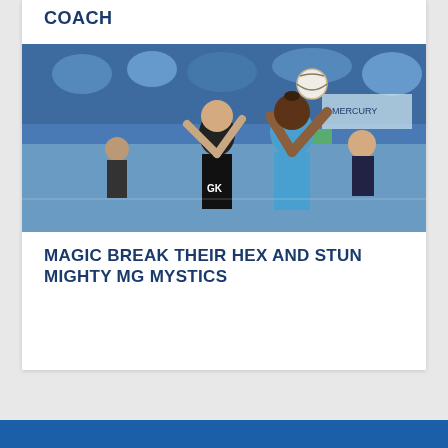COACH
[Figure (photo): Two netball players competing for the ball — one in black (GK) and one in blue — in a stadium with crowd in background]
MAGIC BREAK THEIR HEX AND STUN MIGHTY MG MYSTICS